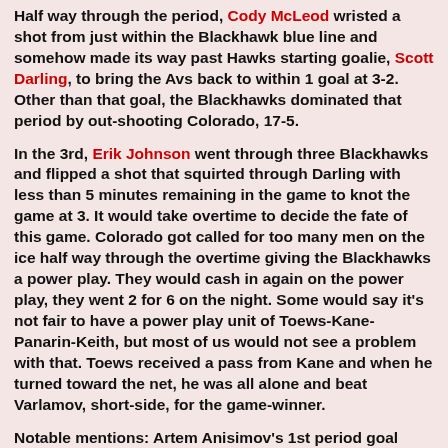Half way through the period, Cody McLeod wristed a shot from just within the Blackhawk blue line and somehow made its way past Hawks starting goalie, Scott Darling, to bring the Avs back to within 1 goal at 3-2.  Other than that goal, the Blackhawks dominated that period by out-shooting Colorado, 17-5.
In the 3rd, Erik Johnson went through three Blackhawks and flipped a shot that squirted through Darling with less than 5 minutes remaining in the game to knot the game at 3.  It would take overtime to decide the fate of this game.  Colorado got called for too many men on the ice half way through the overtime giving the Blackhawks a power play.  They would cash in again on the power play, they went 2 for 6 on the night.  Some would say it's not fair to have a power play unit of Toews-Kane-Panarin-Keith, but most of us would not see a problem with that.  Toews received a pass from Kane and when he turned toward the net, he was all alone and beat Varlamov, short-side, for the game-winner.
Notable mentions: Artem Anisimov's 1st period goal